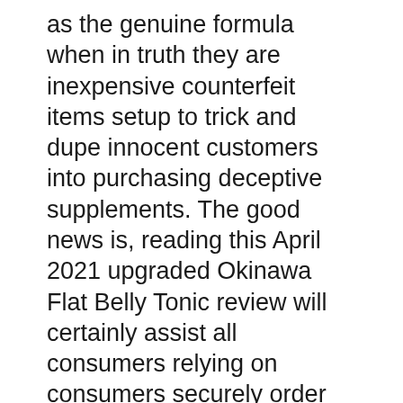as the genuine formula when in truth they are inexpensive counterfeit items setup to trick and dupe innocent customers into purchasing deceptive supplements. The good news is, reading this April 2021 upgraded Okinawa Flat Belly Tonic review will certainly assist all consumers relying on consumers securely order directly from Mike Banner and also the group straight in charge of this set of a kind weight management drink recipe. Not only will visiting the FlatBellyTonic.com make sure individuals are obtaining the authentic powder formula that is completely secure to take that is made as well as evaluated in an FDA authorized and GMP (Good Manufacturing Practices) center for purity as well as effectiveness, yet it will